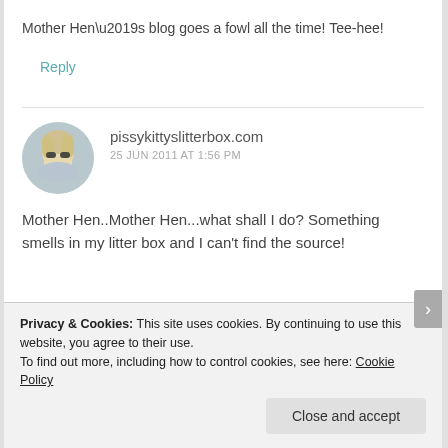Mother Hen’s blog goes a fowl all the time! Tee-hee!
Reply
pissykittyslitterbox.com
25 JUN 2011 AT 1:56 PM
Mother Hen..Mother Hen...what shall I do? Something smells in my litter box and I can’t find the source!
Privacy & Cookies: This site uses cookies. By continuing to use this website, you agree to their use. To find out more, including how to control cookies, see here: Cookie Policy
Close and accept